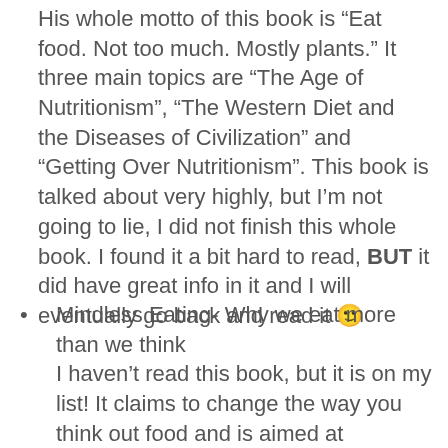His whole motto of this book is “Eat food. Not too much. Mostly plants.” It three main topics are “The Age of Nutritionism”, “The Western Diet and the Diseases of Civilization” and “Getting Over Nutritionism”. This book is talked about very highly, but I’m not going to lie, I did not finish this whole book. I found it a bit hard to read, BUT it did have great info in it and I will eventually go back and read it 🙂
Mindless Eating- Why we eat more than we think
I haven’t read this book, but it is on my list! It claims to change the way you think out food and is aimed at increasing our awareness of how much, what, and why we’re eating.